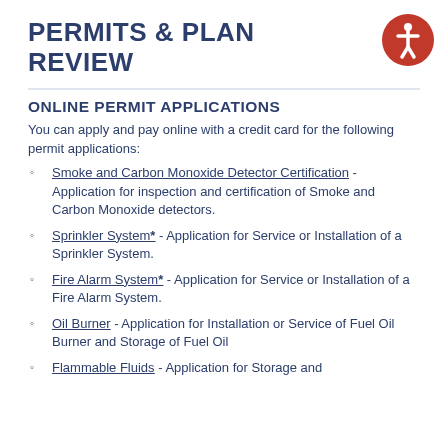PERMITS & PLAN REVIEW
ONLINE PERMIT APPLICATIONS
You can apply and pay online with a credit card for the following permit applications:
Smoke and Carbon Monoxide Detector Certification - Application for inspection and certification of Smoke and Carbon Monoxide detectors.
Sprinkler System* - Application for Service or Installation of a Sprinkler System.
Fire Alarm System* - Application for Service or Installation of a Fire Alarm System.
Oil Burner - Application for Installation or Service of Fuel Oil Burner and Storage of Fuel Oil
Flammable Fluids - Application for Storage and